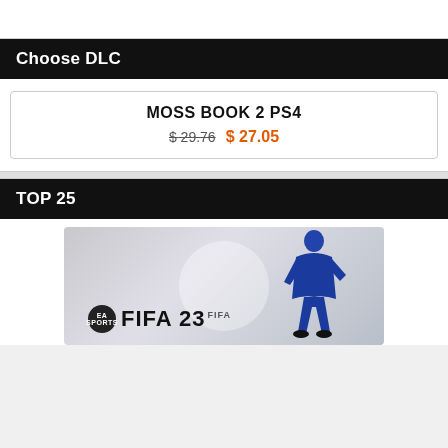Choose DLC
MOSS BOOK 2 PS4  $ 29.76  $ 27.05
TOP 25
[Figure (photo): FIFA 23 game cover art showing a soccer player in blue jersey running, with EA Sports logo and FIFA 23 title text]